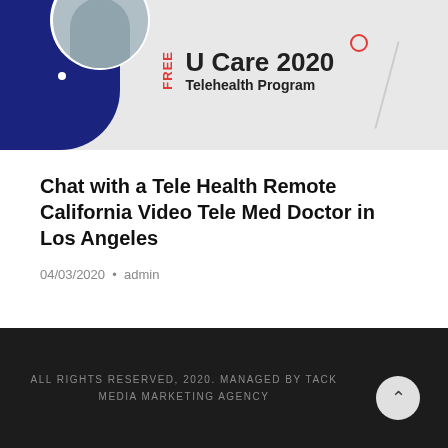[Figure (infographic): Promotional banner for U Care 2020 Telehealth Program featuring a dark blue curved shape on the left with a circular photo inset of a person holding a tablet, decorative dots and a line on the right, and text 'U Care 2020 Telehealth Program' in bold with 'FREE' vertically on the left side in red.]
Chat with a Tele Health Remote California Video Tele Med Doctor in Los Angeles
04/03/2020 • admin
ALL RIGHTS RESERVED, 2020. MANAGED BY TACK MEDIA MARKETING AGENCY